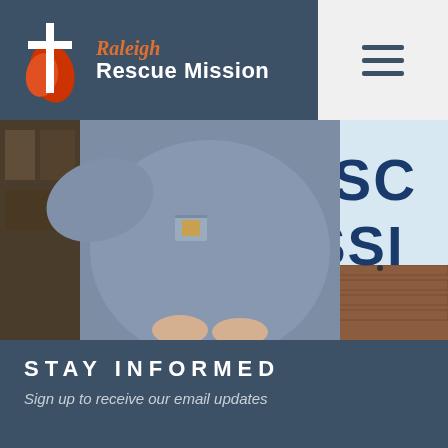[Figure (logo): Raleigh Rescue Mission logo with cross and flame icon, white text 'Rescue Mission', orange italic 'Raleigh' on dark blue-grey header bar]
[Figure (photo): Person wearing a grey/blue speckled t-shirt standing in front of a Rescue Mission sign showing partial text 'RESC' and 'MISSI' in large dark blue letters on a light background, brick wall visible]
STAY INFORMED
Sign up to receive our email updates